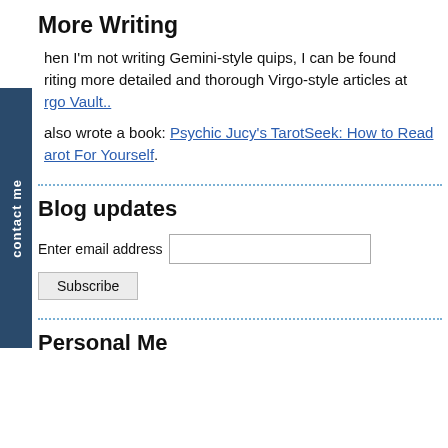More Writing
When I'm not writing Gemini-style quips, I can be found writing more detailed and thorough Virgo-style articles at Virgo Vault..
I also wrote a book: Psychic Jucy's TarotSeek: How to Read Tarot For Yourself.
Blog updates
Enter email address [input field] Subscribe
Personal Me